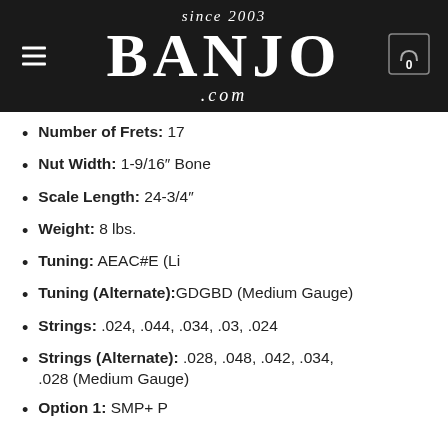since 2003 BANJO .com
Number of Frets: 17
Nut Width: 1-9/16" Bone
Scale Length: 24-3/4"
Weight: 8 lbs.
Tuning: AEAC#E (Li
Tuning (Alternate):GDGBD (Medium Gauge)
Strings: .024, .044, .034, .03, .024
Strings (Alternate): .028, .048, .042, .034, .028 (Medium Gauge)
Option 1: SMP+ P